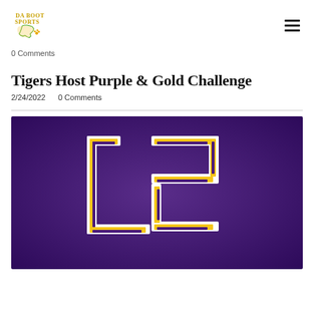DA BOOT SPORTS
0 Comments
Tigers Host Purple & Gold Challenge
2/24/2022   0 Comments
[Figure (photo): LSU Tigers logo on a purple background — interlocking L and S letters in purple with gold and white outline]